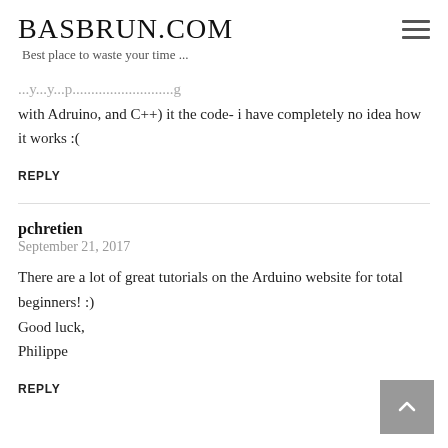BASBRUN.COM
Best place to waste your time ...
with Adruino, and C++) it the code- i have completely no idea how it works :(
REPLY
pchretien
September 21, 2017
There are a lot of great tutorials on the Arduino website for total beginners! :)
Good luck,
Philippe
REPLY